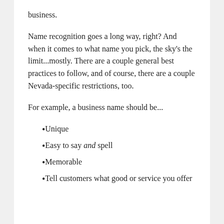business.
Name recognition goes a long way, right? And when it comes to what name you pick, the sky's the limit...mostly. There are a couple general best practices to follow, and of course, there are a couple Nevada-specific restrictions, too.
For example, a business name should be...
Unique
Easy to say and spell
Memorable
Tell customers what good or service you offer